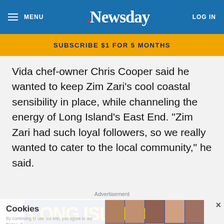MENU | Newsday | LOG IN
SUBSCRIBE $1 FOR 5 MONTHS
Vida chef-owner Chris Cooper said he wanted to keep Zim Zari's cool coastal sensibility in place, while channeling the energy of Long Island's East End. "Zim Zari had such loyal followers, so we really wanted to cater to the local community," he said.
Advertisement
[Figure (screenshot): Advertisement showing 'LONG ISLAND'S FACES OF LONG ISLAND' with a grid of portrait photos on a blue background]
Cookies
By continuing to use our site, you agree to our Terms of Service and Privacy Policy. You can learn about our use of cookies by reviewing our Privacy Policy.